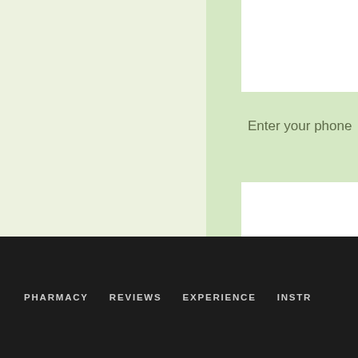Enter your phone
[Figure (screenshot): A pharmacy/medical website UI showing a form with a phone input field, a white input box, and a green BUY button, with a dark navigation bar at the bottom containing links: PHARMACY, REVIEWS, EXPERIENCE, INSTR...]
PHARMACY   REVIEWS   EXPERIENCE   INSTR...